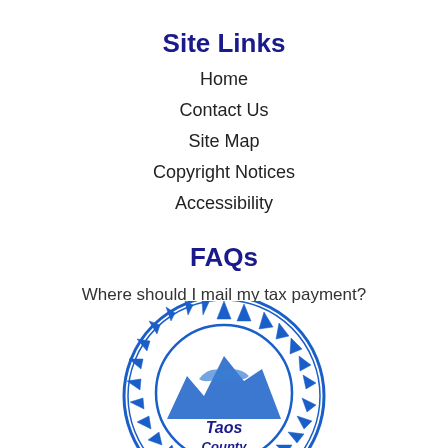Site Links
Home
Contact Us
Site Map
Copyright Notices
Accessibility
FAQs
Where should I mail my tax payment?
[Figure (logo): Taos County circular seal/logo with blue mountains and decorative border]